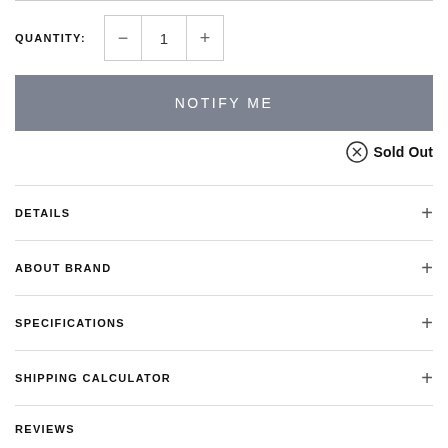QUANTITY: 1
NOTIFY ME
Sold Out
DETAILS
ABOUT BRAND
SPECIFICATIONS
SHIPPING CALCULATOR
REVIEWS